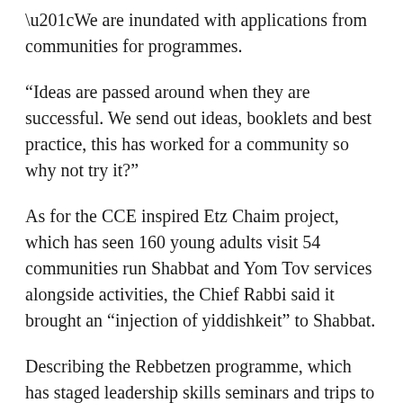“We are inundated with applications from communities for programmes.
“Ideas are passed around when they are successful. We send out ideas, booklets and best practice, this has worked for a community so why not try it?”
As for the CCE inspired Etz Chaim project, which has seen 160 young adults visit 54 communities run Shabbat and Yom Tov services alongside activities, the Chief Rabbi said it brought an “injection of yiddishkeit” to Shabbat.
Describing the Rebbetzen programme, which has staged leadership skills seminars and trips to